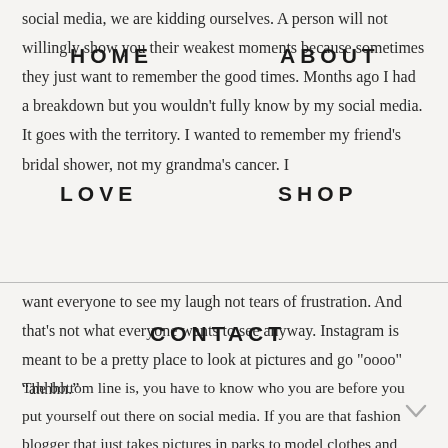social media, we are kidding ourselves. A person will not willingly show you their weakest moments because sometimes they just want to remember the good times. Months ago I had a breakdown but you wouldn't fully know by my social media. It goes with the territory. I wanted to remember my friend's bridal shower, not my grandma's cancer. I want everyone to see my laugh not tears of frustration. And that's not what everyone wants to see anyway. Instagram is meant to be a pretty place to look at pictures and go "oooo" “ahhhh.”
The bottom line is, you have to know who you are before you put yourself out there on social media. If you are that fashion blogger that just takes pictures in parks to model clothes and that’s something you enjoy, go for it. If you are that blogger that wants to
HOME
ABOUT
LOVE
SHOP
CONTACT